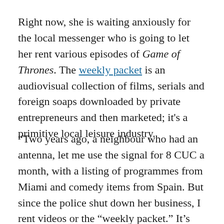Right now, she is waiting anxiously for the local messenger who is going to let her rent various episodes of Game of Thrones. The weekly packet is an audiovisual collection of films, serials and foreign soaps downloaded by private entrepreneurs and then marketed; it's a primitive local leisure industry.
“Two years ago, a neighbour who had an antenna, let me use the signal for 8 CUC a month, with a listing of programmes from Miami and comedy items from Spain. But since the police shut down her business, I rent videos or the “weekly packet.” It’s because Cuban TV is so bad that people have no option but to